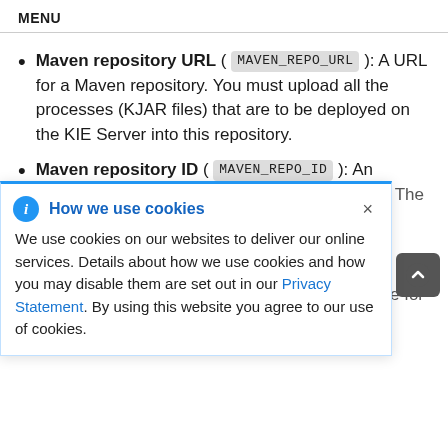MENU
Maven repository URL (MAVEN_REPO_URL): A URL for a Maven repository. You must upload all the processes (KJAR files) that are to be deployed on the KIE Server into this repository.
Maven repository ID (MAVEN_REPO_ID): An [identifier]. The [name for]
[Figure (screenshot): Cookie consent popup overlay with blue info icon, title 'How we use cookies', close X button, and body text about cookie usage with a Privacy Statement link.]
Maven repository password (MAVEN_REPO_PASSWORD): The [password for]